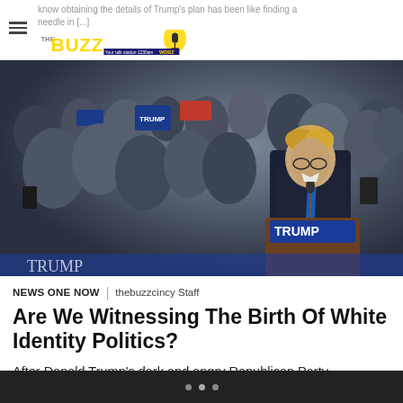know obtaining the details of Trump's plan has been like finding a needle in [...]
[Figure (photo): Donald Trump speaking at a podium at a political rally, wearing a dark suit and blue tie, with a crowd of supporters in the background holding signs]
NEWS ONE NOW  |  thebuzzcincy Staff
Are We Witnessing The Birth Of White Identity Politics?
After Donald Trump’s dark and angry Republican Party presidential nominee acceptance speech, Roland Martin, host of